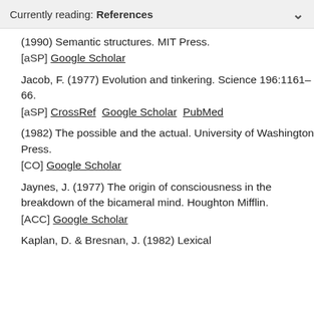Currently reading: References
(1990) Semantic structures. MIT Press. [aSP] Google Scholar
Jacob, F. (1977) Evolution and tinkering. Science 196:1161–66. [aSP] CrossRef  Google Scholar  PubMed
(1982) The possible and the actual. University of Washington Press. [CO] Google Scholar
Jaynes, J. (1977) The origin of consciousness in the breakdown of the bicameral mind. Houghton Mifflin. [ACC] Google Scholar
Kaplan, D. & Bresnan, J. (1982) Lexical